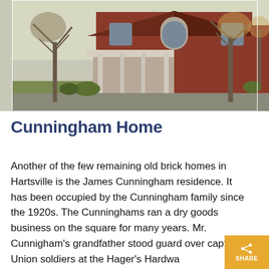[Figure (photo): Exterior photo of the Cunningham Home, a two-story red brick house with white-columned front porch, arched upper windows, and bare autumn trees on either side, facing a street.]
Cunningham Home
Another of the few remaining old brick homes in Hartsville is the James Cunningham residence. It has been occupied by the Cunningham family since the 1920s. The Cunninghams ran a dry goods business on the square for many years. Mr. Cunnigham's grandfather stood guard over captured Union soldiers at the Hager's Hardwa... building after the surrender of Hartsville...